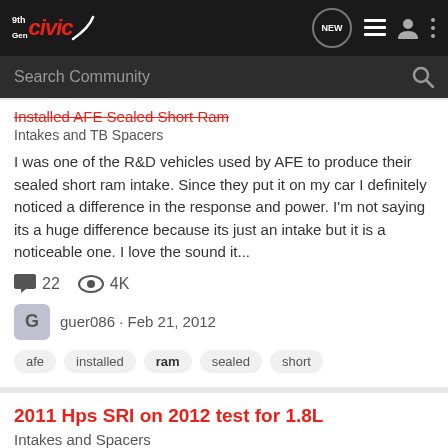[Figure (logo): 9th Gen Civic community logo on dark navigation bar with nav icons (NEW button, list icon, user icon, more icon)]
Search Community
Installed AFE Sealed Short Ram
Intakes and TB Spacers
I was one of the R&D vehicles used by AFE to produce their sealed short ram intake. Since they put it on my car I definitely noticed a difference in the response and power. I'm not saying its a huge difference because its just an intake but it is a noticeable one. I love the sound it...
22  4K
guer086 · Feb 21, 2012
afe
installed
ram
sealed
short
2011 Hps SRI on 2012 test for 1.8L
Intakes and Spacers